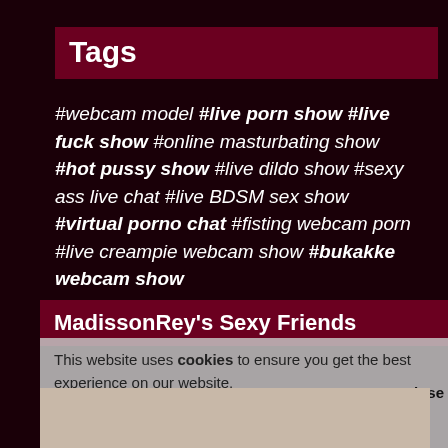Tags
#webcam model #live porn show #live fuck show #online masturbating show #hot pussy show #live dildo show #sexy ass live chat #live BDSM sex show #virtual porno chat #fisting webcam porn #live creampie webcam show #bukakke webcam show
MadissonRey's Sexy Friends
This website uses cookies to ensure you get the best experience on our website. Close aruby.com lyalicia21 ore